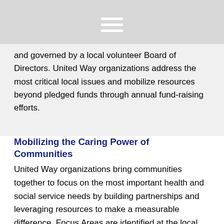and governed by a local volunteer Board of Directors. United Way organizations address the most critical local issues and mobilize resources beyond pledged funds through annual fund-raising efforts.
Mobilizing the Caring Power of Communities
United Way organizations bring communities together to focus on the most important health and social service needs by building partnerships and leveraging resources to make a measurable difference. Focus Areas are identified at the local level and vary from community to community.
United Way Worldwide is dedicated to leading the United Way movement in making a measurable impact in every involved global community. United Way Worldwide invests in the programs and services that strengthen the ability of local United Way